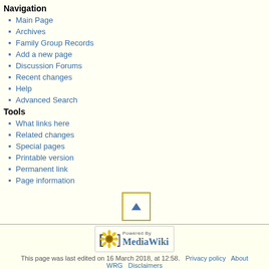Navigation
Main Page
Archives
Family Group Records
Add a new page
Discussion Forums
Recent changes
Help
Advanced Search
Tools
What links here
Related changes
Special pages
Printable version
Permanent link
Page information
[Figure (other): Scroll to top button with upward triangle arrow]
[Figure (logo): Powered by MediaWiki badge with sunflower logo]
This page was last edited on 16 March 2018, at 12:58.   Privacy policy   About WRG   Disclaimers